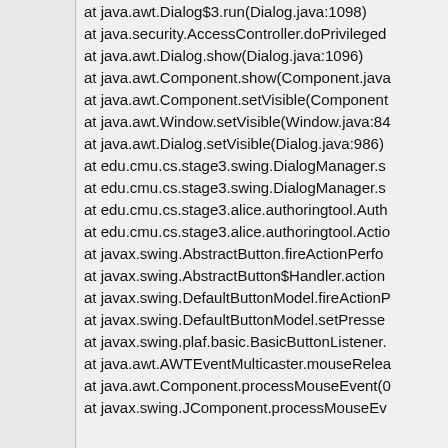at java.awt.Dialog$3.run(Dialog.java:1098)
at java.security.AccessController.doPrivileged
at java.awt.Dialog.show(Dialog.java:1096)
at java.awt.Component.show(Component.java
at java.awt.Component.setVisible(Component
at java.awt.Window.setVisible(Window.java:8
at java.awt.Dialog.setVisible(Dialog.java:986)
at edu.cmu.cs.stage3.swing.DialogManager.s
at edu.cmu.cs.stage3.swing.DialogManager.s
at edu.cmu.cs.stage3.alice.authoringtool.Auth
at edu.cmu.cs.stage3.alice.authoringtool.Actio
at javax.swing.AbstractButton.fireActionPerfo
at javax.swing.AbstractButton$Handler.action
at javax.swing.DefaultButtonModel.fireActionP
at javax.swing.DefaultButtonModel.setPresse
at javax.swing.plaf.basic.BasicButtonListener.
at java.awt.AWTEventMulticaster.mouseRelea
at java.awt.Component.processMouseEvent(0
at javax.swing.JComponent.processMouseEv